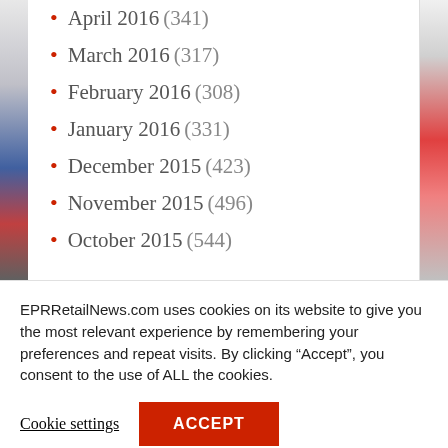April 2016 (341)
March 2016 (317)
February 2016 (308)
January 2016 (331)
December 2015 (423)
November 2015 (496)
October 2015 (544)
EPRRetailNews.com uses cookies on its website to give you the most relevant experience by remembering your preferences and repeat visits. By clicking “Accept”, you consent to the use of ALL the cookies.
Cookie settings
ACCEPT